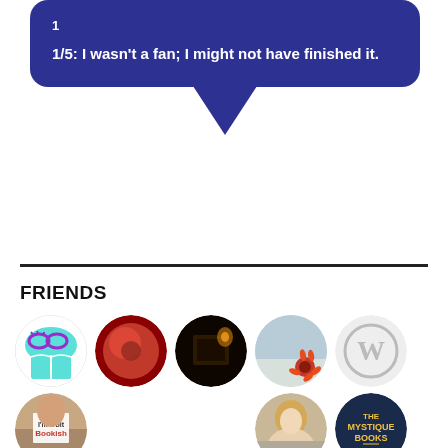1/5: I wasn't a fan; I might not have finished it.
FRIENDS
[Figure (illustration): Row of circular friend/blog avatars: a bookish owl logo, red abstract circle, dark book photo, sunflower photo, WordPress logo, plus second row: 'I'm a bit Bookish' person, two empty slots, blonde woman photo, 'The Mystique Books' dark circle logo]